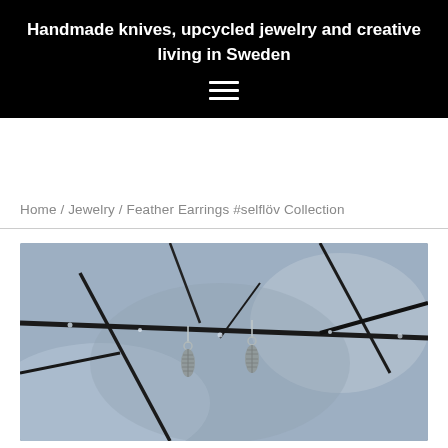Handmade knives, upcycled jewelry and creative living in Sweden
Home / Jewelry / Feather Earrings #selflöv Collection
[Figure (photo): Close-up photograph of two silver feather earrings hanging from frost-covered dark branches against a blurred blue-grey winter background.]